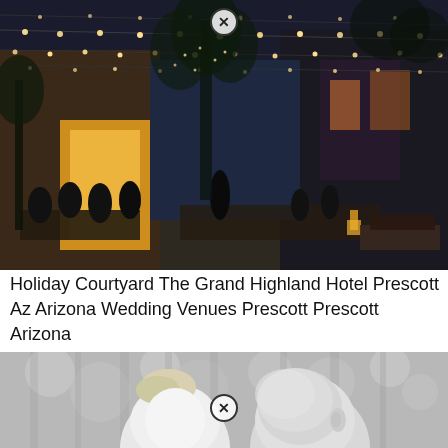[Figure (photo): Outdoor evening event at a courtyard venue with string lights draped overhead and warm ambient lighting. Tables with white linens and guests seated. A brick building glows in the background. Trees with twinkling lights visible.]
Holiday Courtyard The Grand Highland Hotel Prescott Az Arizona Wedding Venues Prescott Prescott Arizona
[Figure (photo): Black and white close-up photo of a couple, showing the back of a bald man's head and a blonde woman with her hair up, facing each other in an intimate moment. Soft bokeh background of trees.]